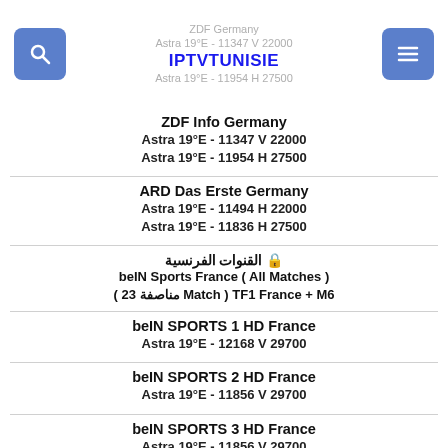ZDF Germany
Astra 19°E - 11347 V 22000
IPTVTUNISIE
Astra 19°E - 11954 H 27500
ZDF Info Germany
Astra 19°E - 11347 V 22000
Astra 19°E - 11954 H 27500
ARD Das Erste Germany
Astra 19°E - 11494 H 22000
Astra 19°E - 11836 H 27500
🔒 القنوات الفرنسية
beIN Sports France ( All Matches )
( مناصفة 23 Match ) TF1 France + M6
beIN SPORTS 1 HD France
Astra 19°E - 12168 V 29700
beIN SPORTS 2 HD France
Astra 19°E - 11856 V 29700
beIN SPORTS 3 HD France
Astra 19°E - 11856 V 29700